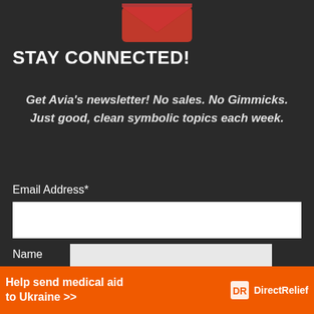[Figure (illustration): Red envelope / mail icon partially visible at top of page]
STAY CONNECTED!
Get Avia's newsletter! No sales. No Gimmicks. Just good, clean symbolic topics each week.
Email Address*
Name
SUBSCRIBE
Help send medical aid to Ukraine >>  Direct Relief